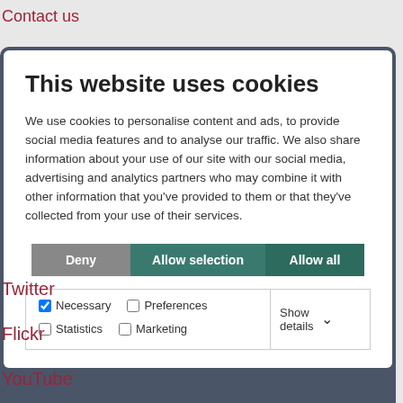Contact us
This website uses cookies
We use cookies to personalise content and ads, to provide social media features and to analyse our traffic. We also share information about your use of our site with our social media, advertising and analytics partners who may combine it with other information that you've provided to them or that they've collected from your use of their services.
Deny | Allow selection | Allow all
✓ Necessary  □ Preferences  □ Statistics  □ Marketing  Show details ▾
Twitter
Flickr
YouTube